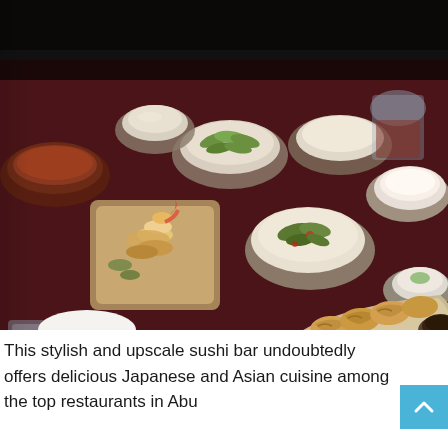[Figure (photo): A dark-lit Japanese restaurant table spread with various dishes including tempura shrimp on a square plate, multiple bowls of edamame, a stir-fried vegetable dish, gyoza dumplings on a long ceramic platter with dipping sauce, a rolled white napkin with chopsticks, drinking glasses, and small condiment bowls arranged on a deep burgundy/dark red tablecloth.]
This stylish and upscale sushi bar undoubtedly offers delicious Japanese and Asian cuisine among the top restaurants in Abu